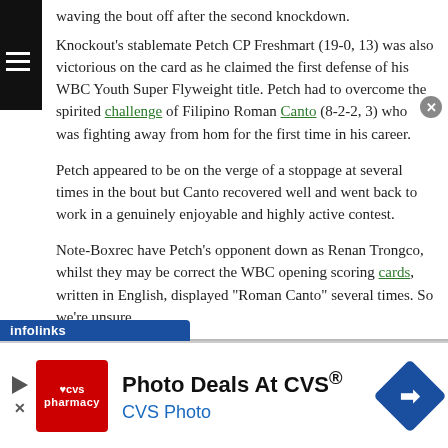waving the bout off after the second knockdown.
Knockout's stablemate Petch CP Freshmart (19-0, 13) was also victorious on the card as he claimed the first defense of his WBC Youth Super Flyweight title. Petch had to overcome the spirited challenge of Filipino Roman Canto (8-2-2, 3) who was fighting away from hom for the first time in his career.
Petch appeared to be on the verge of a stoppage at several times in the bout but Canto recovered well and went back to work in a genuinely enjoyable and highly active contest.
Note-Boxrec have Petch's opponent down as Renan Trongco, whilst they may be correct the WBC opening scoring cards, written in English, displayed "Roman Canto" several times. So we're unsure.
[Figure (screenshot): infolinks ad bar label in blue at bottom of article content]
[Figure (screenshot): CVS pharmacy advertisement banner: Photo Deals At CVS® with CVS Photo subtitle, CVS red logo on left, blue diamond arrow on right, close button top right]